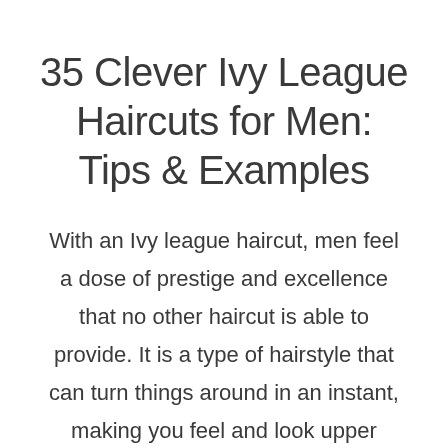35 Clever Ivy League Haircuts for Men: Tips & Examples
With an Ivy league haircut, men feel a dose of prestige and excellence that no other haircut is able to provide. It is a type of hairstyle that can turn things around in an instant, making you feel and look upper class. In the